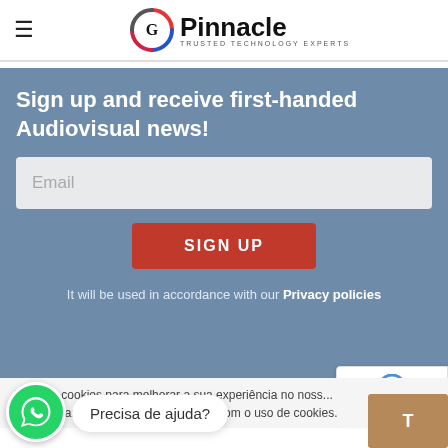[Figure (logo): G Pinnacle logo with colorful ring icon and text 'Pinnacle TRUSTED TECHNOLOGY EXPERTS']
Sign up and receive first-handed Audiovisual news!
Email
SIGN UP
It will be used in accordance with our Privacy policies
Usamos cookies para melhorar a sua experiência no noss... Ao navegar neste site, você concorda com o uso de cookies.
Precisa de ajuda?